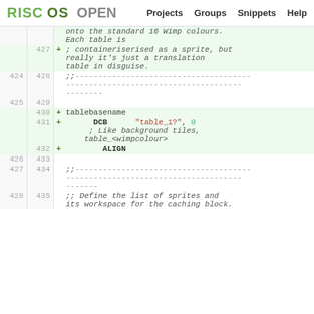RISC OS OPEN   Projects   Groups   Snippets   Help
| old | new | op | code |
| --- | --- | --- | --- |
|  | 427 | + | ; containeriserised as a sprite, but really it's just a translation table in disguise. |
| 424 | 428 |  | ;;-------------------------------------------- |
| 425 | 429 |  |  |
|  | 430 | + | tablebasename |
|  | 431 | + | DCB "table_1?", 0 |
|  |  |  | ; Like background tiles, table_<wimpcolour> |
|  | 432 | + | ALIGN |
| 426 | 433 |  |  |
| 427 | 434 |  | ;;-------------------------------------------- |
| 428 | 435 |  | ;; Define the list of sprites and its workspace for the caching block. |